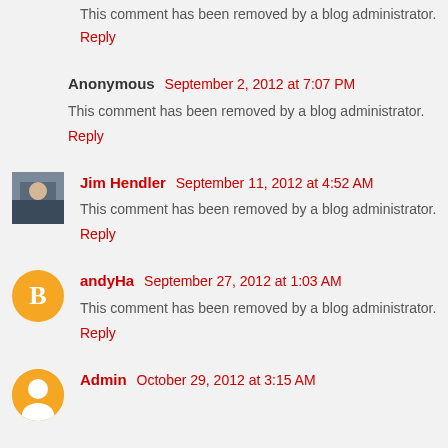This comment has been removed by a blog administrator.
Reply
Anonymous  September 2, 2012 at 7:07 PM
This comment has been removed by a blog administrator.
Reply
Jim Hendler  September 11, 2012 at 4:52 AM
This comment has been removed by a blog administrator.
Reply
andyHa  September 27, 2012 at 1:03 AM
This comment has been removed by a blog administrator.
Reply
Admin  October 29, 2012 at 3:15 AM